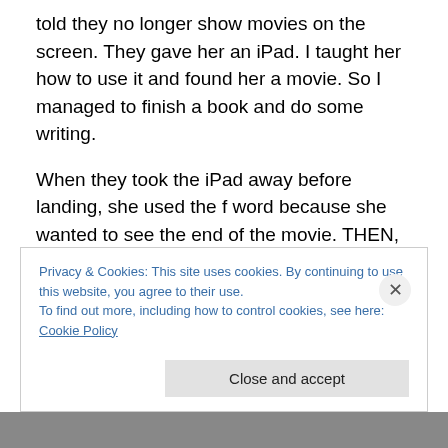told they no longer show movies on the screen. They gave her an iPad. I taught her how to use it and found her a movie. So I managed to finish a book and do some writing.
When they took the iPad away before landing, she used the f word because she wanted to see the end of the movie. THEN, she told me she has multiple personalities and named all the personalities. One personality died in an accident. She was told in therapy that they could merge all the personalities into one or to leave them as they are. She said they are family to her so she chose to keep each
Privacy & Cookies: This site uses cookies. By continuing to use this website, you agree to their use.
To find out more, including how to control cookies, see here: Cookie Policy
Close and accept